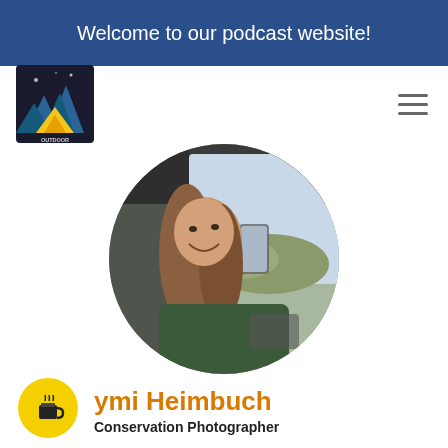Welcome to our podcast website!
[Figure (logo): Outdoor Photography Podcast logo — small square badge with mountain/tent icon and text]
[Figure (photo): Circular profile photo of a woman with long hair smiling inside a vehicle, with wildlife/savanna visible through the window background]
ymi Heimbuch
Conservation Photographer